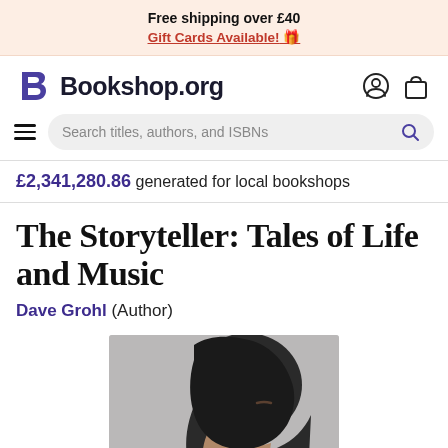Free shipping over £40
Gift Cards Available! 🎁
[Figure (logo): Bookshop.org logo with stylized B and wordmark, plus account and bag icons]
Search titles, authors, and ISBNs
£2,341,280.86 generated for local bookshops
The Storyteller: Tales of Life and Music
Dave Grohl (Author)
[Figure (photo): Photo of a person with dark shoulder-length hair seen from behind/side profile, wearing glasses]